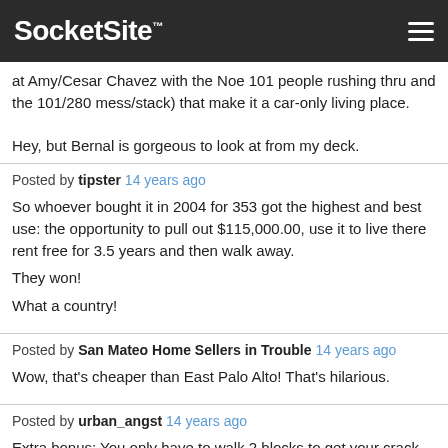SocketSite™
at Amy/Cesar Chavez with the Noe 101 people rushing thru and the 101/280 mess/stack) that make it a car-only living place.

Hey, but Bernal is gorgeous to look at from my deck.
Posted by tipster 14 years ago
So whoever bought it in 2004 for 353 got the highest and best use: the opportunity to pull out $115,000.00, use it to live there rent free for 3.5 years and then walk away.

They won!

What a country!
Posted by San Mateo Home Sellers in Trouble 14 years ago
Wow, that's cheaper than East Palo Alto! That's hilarious.
Posted by urban_angst 14 years ago
Extra bonus: You only have to walk 2 blocks to get your crack and heroin!

And this is at a low risk – only FIVE drug arrests at the corner of